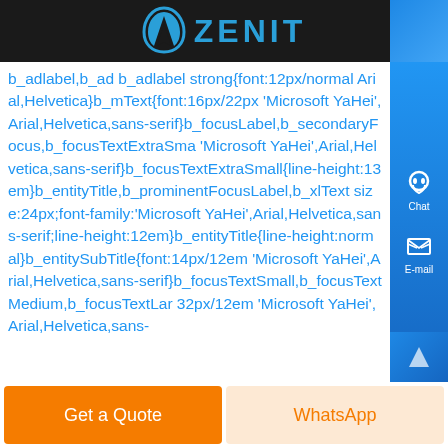[Figure (logo): Zenit company logo with arch/roof icon in blue on dark background header bar]
b_adlabel,b_ad b_adlabel strong{font:12px/normal Arial,Helvetica}b_mText{font:16px/22px 'Microsoft YaHei',Arial,Helvetica,sans-serif}b_focusLabel,b_secondaryFocus,b_focusTextExtraSmall 'Microsoft YaHei',Arial,Helvetica,sans-serif}b_focusTextExtraSmall{line-height:13em}b_entityTitle,b_prominentFocusLabel,b_xlText size:24px;font-family:'Microsoft YaHei',Arial,Helvetica,sans-serif;line-height:12em}b_entityTitle{line-height:normal}b_entitySubTitle{font:14px/12em 'Microsoft YaHei',Arial,Helvetica,sans-serif}b_focusTextSmall,b_focusTextMedium,b_focusTextLar 32px/12em 'Microsoft YaHei',Arial,Helvetica,sans-
[Figure (other): Chat and E-mail icons on blue right sidebar]
Get a Quote
WhatsApp